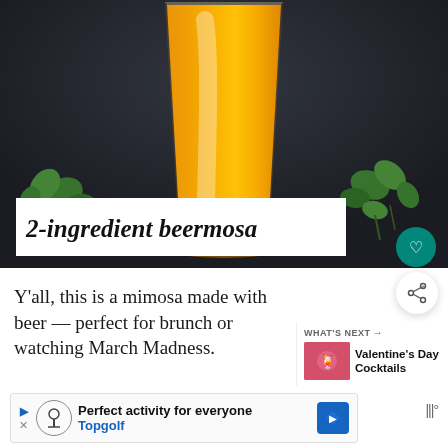[Figure (photo): A glass of golden/orange beermosa drink on a dark background with green herb leaves/watercress scattered around the base, with a white title bar overlay reading '2-ingredient beermosa']
Y'all, this is a mimosa made with beer — perfect for brunch or watching March Madness.
WHAT'S NEXT → Valentine's Day Cocktails
Perfect activity for everyone  Topgolf